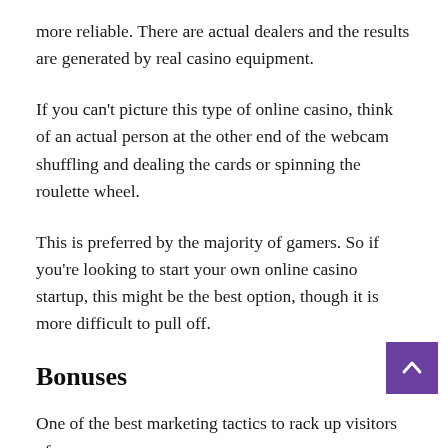more reliable. There are actual dealers and the results are generated by real casino equipment.
If you can't picture this type of online casino, think of an actual person at the other end of the webcam shuffling and dealing the cards or spinning the roulette wheel.
This is preferred by the majority of gamers. So if you're looking to start your own online casino startup, this might be the best option, though it is more difficult to pull off.
Bonuses
One of the best marketing tactics to rack up visitors of